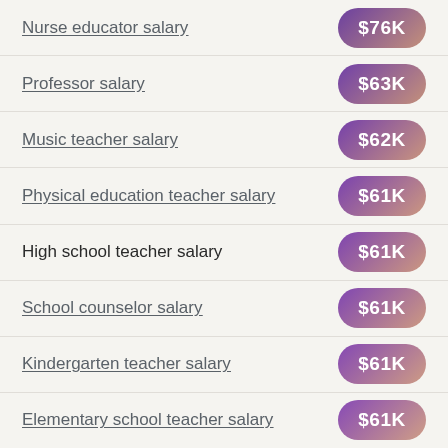Nurse educator salary
Professor salary
Music teacher salary
Physical education teacher salary
High school teacher salary
School counselor salary
Kindergarten teacher salary
Elementary school teacher salary